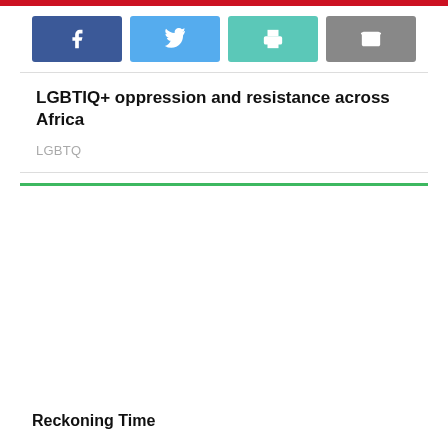[Figure (infographic): Social sharing buttons row: Facebook (blue), Twitter (light blue), Print (teal), Email (gray)]
LGBTIQ+ oppression and resistance across Africa
LGBTQ
[Figure (photo): Large image area for article photo, currently blank/white]
Reckoning Time